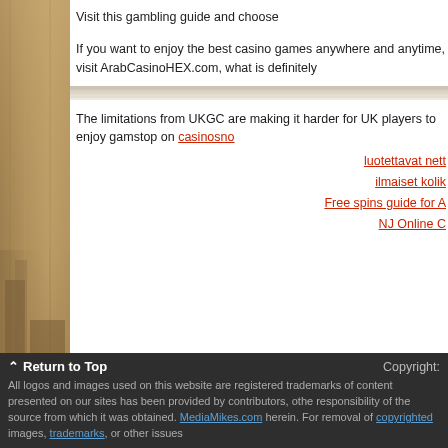Visit this gambling guide and choose
If you want to enjoy the best casino games anywhere and anytime, visit ArabCasinoHEX.com, what is definitely
[Figure (photo): Decorative image strip across middle of page]
The limitations from UKGC are making it harder for UK players to enjoy gamstop on casinosno...
luotettavat nett...
ilmaiset kolik...
Free spins guide for A...
NJ Online C...
Return to Top   Copyright:   All logos and images used on this website are registered trademarks of... content presented on our sites has been provided by contributors, othe... responsibility of the source from which it was obtained. MediaMikes.com herein. For removal of copyrighted images, trademarks, or other issues